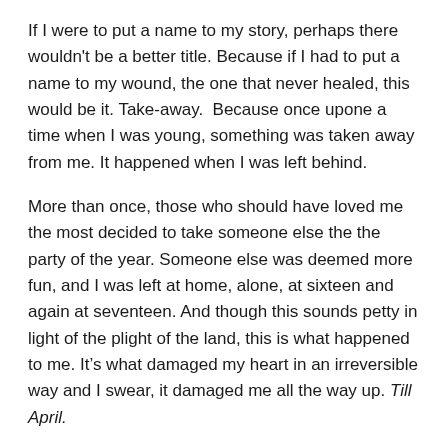If I were to put a name to my story, perhaps there wouldn't be a better title. Because if I had to put a name to my wound, the one that never healed, this would be it. Take-away.  Because once upone a time when I was young, something was taken away from me. It happened when I was left behind.
More than once, those who should have loved me the most decided to take someone else the the party of the year. Someone else was deemed more fun, and I was left at home, alone, at sixteen and again at seventeen. And though this sounds petty in light of the plight of the land, this is what happened to me. It’s what damaged my heart in an irreversible way and I swear, it damaged me all the way up. Till April.
A mere month ago.
It was the second time that really did it for it was a double whammy. The details aren't important, but suffice it to say, I felt utterly forsaken. Left behind and left alone because the one I